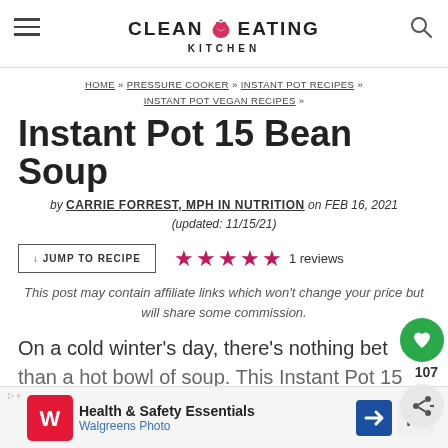CLEAN EATING KITCHEN
HOME » PRESSURE COOKER » INSTANT POT RECIPES » INSTANT POT VEGAN RECIPES »
Instant Pot 15 Bean Soup
by CARRIE FORREST, MPH IN NUTRITION on FEB 16, 2021 (updated: 11/15/21)
↓ JUMP TO RECIPE   ★★★★★ 1 reviews
This post may contain affiliate links which won't change your price but will share some commission.
On a cold winter's day, there's nothing bet than a hot bowl of soup. This Instant Pot 15 B…pe that
[Figure (other): Walgreens Health & Safety Essentials advertisement banner]